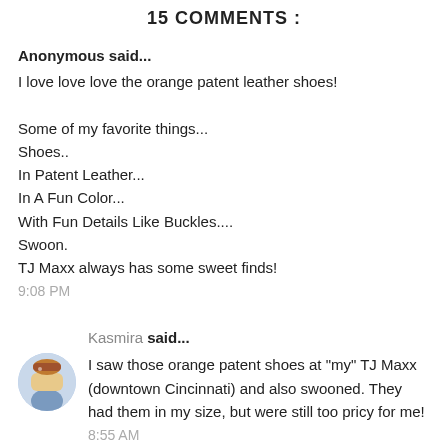15 COMMENTS :
Anonymous said...
I love love love the orange patent leather shoes!

Some of my favorite things...
Shoes..
In Patent Leather...
In A Fun Color...
With Fun Details Like Buckles....
Swoon.
TJ Maxx always has some sweet finds!
9:08 PM
Kasmira said...
I saw those orange patent shoes at "my" TJ Maxx (downtown Cincinnati) and also swooned. They had them in my size, but were still too pricy for me!
8:55 AM
Anonymous said...